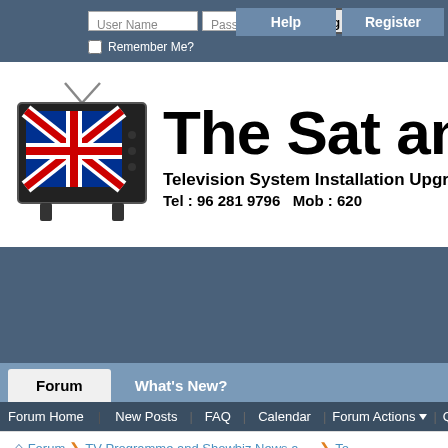[Figure (screenshot): Forum login bar with User Name, Password fields, Log in button, Remember Me checkbox, Help and Register buttons on dark blue background]
[Figure (logo): The Sat and R... forum logo with Union Jack TV icon, text 'Television System Installation Upgra...' and 'Tel : 96 281 9796   Mob : 620 ...']
[Figure (screenshot): Dark blue advertisement/banner area]
[Figure (screenshot): Forum navigation tabs: Forum (active), What's New?]
[Figure (screenshot): Sub-navigation: Forum Home | New Posts | FAQ | Calendar | Forum Actions | Quick Links]
Forum ❯ TV Programme and Showbiz News and Gossip ❯ To...
Grace season 2, episode 4 ending explained: What happened to